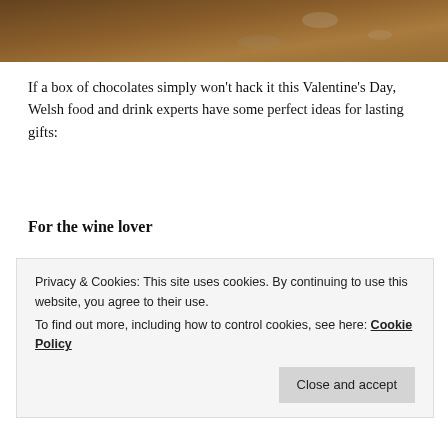[Figure (photo): Close-up photo of what appears to be chocolates or food items on a wooden surface, cropped at top of page]
If a box of chocolates simply won’t hack it this Valentine’s Day, Welsh food and drink experts have some perfect ideas for lasting gifts:
For the wine lover
[Figure (photo): Aerial/landscape photo of a vineyard with rows of vines in the foreground and farm buildings with thatched/slate roofs surrounded by trees in the background]
Privacy & Cookies: This site uses cookies. By continuing to use this website, you agree to their use.
To find out more, including how to control cookies, see here: Cookie Policy